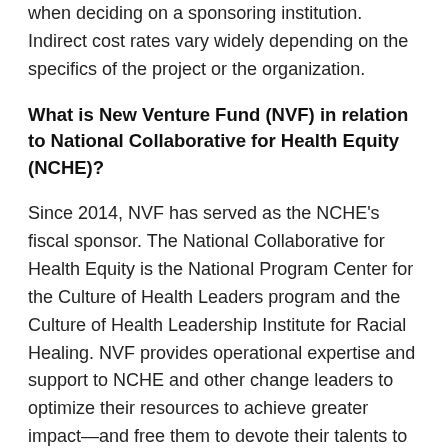when deciding on a sponsoring institution. Indirect cost rates vary widely depending on the specifics of the project or the organization.
What is New Venture Fund (NVF) in relation to National Collaborative for Health Equity (NCHE)?
Since 2014, NVF has served as the NCHE's fiscal sponsor. The National Collaborative for Health Equity is the National Program Center for the Culture of Health Leaders program and the Culture of Health Leadership Institute for Racial Healing. NVF provides operational expertise and support to NCHE and other change leaders to optimize their resources to achieve greater impact—and free them to devote their talents to driving change. NVF will be responsible for processing payments for the program awards, reimbursements, and invoices to the Culture of Health Leadership